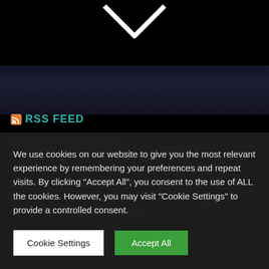[Figure (illustration): Dark background with white chevron/arrow pointing downward at top, with a blurred dark image strip below]
RSS FEED
Imagine 2021 The Reprieve
A dream you dream alone is only a dream.A dream you dream together is reality. — John Lennon Composed, sung and authored by Kim Senior. I'm a Beatles & John Lennon fan & have sung quite a few of their songs & other artists songs at Karaoke
We use cookies on our website to give you the most relevant experience by remembering your preferences and repeat visits. By clicking "Accept All", you consent to the use of ALL the cookies. However, you may visit "Cookie Settings" to provide a controlled consent.
Cookie Settings | Accept All